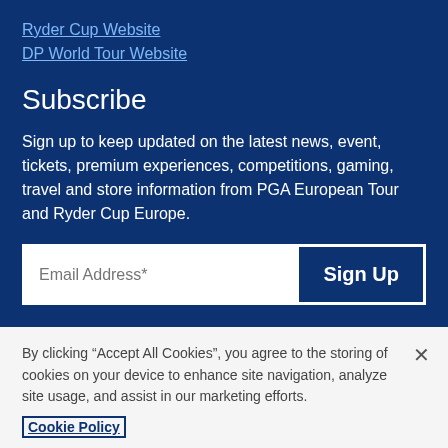Ryder Cup Website
DP World Tour Website
Subscribe
Sign up to keep updated on the latest news, event, tickets, premium experiences, competitions, gaming, travel and store information from PGA European Tour and Ryder Cup Europe.
Email Address*
Sign Up
By clicking “Accept All Cookies”, you agree to the storing of cookies on your device to enhance site navigation, analyze site usage, and assist in our marketing efforts.
Cookie Policy
Cookies Settings
Accept All Cookies